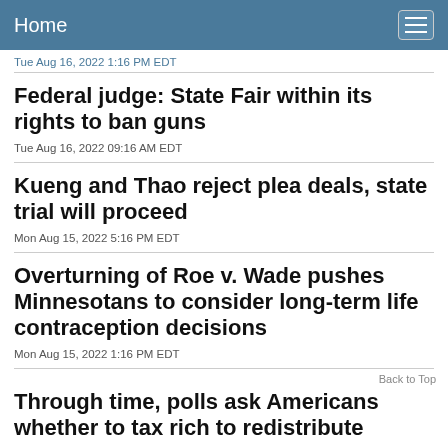Home
Tue Aug 16, 2022 1:16 PM EDT
Federal judge: State Fair within its rights to ban guns
Tue Aug 16, 2022 09:16 AM EDT
Kueng and Thao reject plea deals, state trial will proceed
Mon Aug 15, 2022 5:16 PM EDT
Overturning of Roe v. Wade pushes Minnesotans to consider long-term life contraception decisions
Mon Aug 15, 2022 1:16 PM EDT
Through time, polls ask Americans whether to tax rich to redistribute